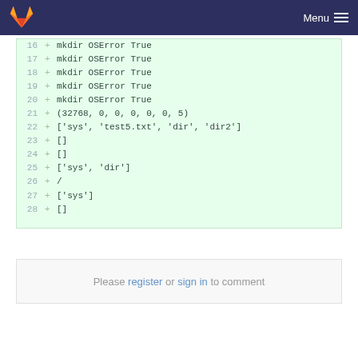Menu
16 + mkdir OSError True
17 + mkdir OSError True
18 + mkdir OSError True
19 + mkdir OSError True
20 + mkdir OSError True
21 + (32768, 0, 0, 0, 0, 0, 5)
22 + ['sys', 'test5.txt', 'dir', 'dir2']
23 + []
24 + []
25 + ['sys', 'dir']
26 + /
27 + ['sys']
28 + []
Please register or sign in to comment